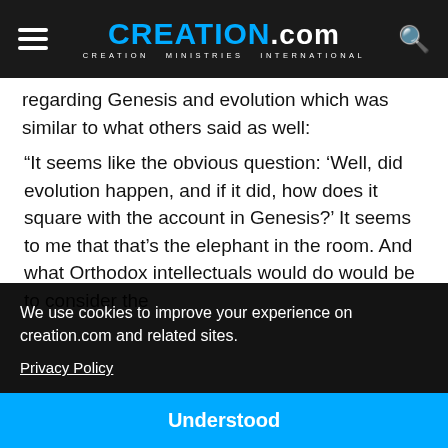CREATION.com — CREATION MINISTRIES INTERNATIONAL
regarding Genesis and evolution which was similar to what others said as well:
“It seems like the obvious question: ‘Well, did evolution happen, and if it did, how does it square with the account in Genesis?’ It seems to me that that’s the elephant in the room. And what Orthodox intellectuals would do would be to consider the
t self d
nd
question. In fact, the only students I ever had that
We use cookies to improve your experience on creation.com and related sites. Privacy Policy
Understood